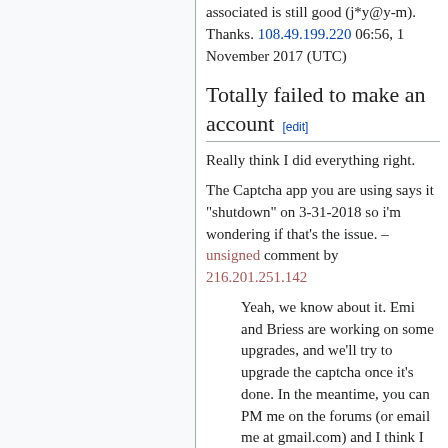associated is still good (j*y@y-m). Thanks. 108.49.199.220 06:56, 1 November 2017 (UTC)
Totally failed to make an account [edit]
Really think I did everything right.
The Captcha app you are using says it "shutdown" on 3-31-2018 so i'm wondering if that's the issue. – unsigned comment by 216.201.251.142
Yeah, we know about it. Emi and Briess are working on some upgrades, and we'll try to upgrade the captcha once it's done. In the meantime, you can PM me on the forums (or email me at gmail.com) and I think I can set up an account for you.